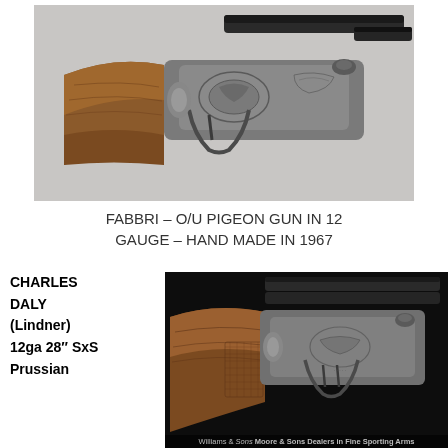[Figure (photo): Close-up photograph of a Fabbri over/under pigeon gun showing the engraved action, trigger guard, and wooden stock with decorative engraving on a light gray background.]
FABBRI – O/U PIGEON GUN IN 12 GAUGE – HAND MADE IN 1967
CHARLES DALY (Lindner) 12ga 28" SxS Prussian
[Figure (photo): Close-up photograph of a Charles Daly (Lindner) 12 gauge side-by-side Prussian shotgun showing the action, trigger guard, and wooden stock against a dark background. Watermark text at bottom reads: Williams & Sons Dealers in Fine Sporting Arms.]